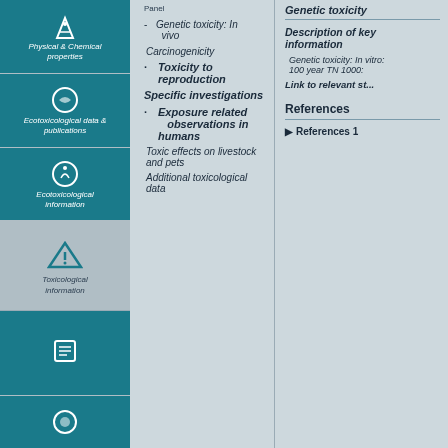[Figure (infographic): Left navigation sidebar with icons for Physical & Chemical properties, Ecotoxicological data & publications, Ecotoxicological information sections (teal/dark teal backgrounds), plus Toxicological information (inactive, grey background with triangle warning icon), and two more teal sections below.]
Panel
Genetic toxicity: In vivo
Carcinogenicity
Toxicity to reproduction
Specific investigations
Exposure related observations in humans
Toxic effects on livestock and pets
Additional toxicological data
Genetic toxicity
Description of key information
Genetic toxicity: In vitro: 100 year TN 1000
Link to relevant study
References
References 1